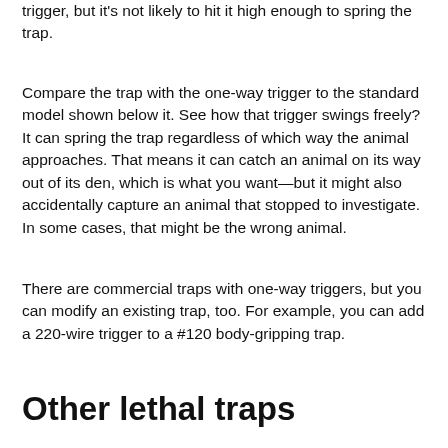trigger, but it's not likely to hit it high enough to spring the trap.
Compare the trap with the one-way trigger to the standard model shown below it. See how that trigger swings freely? It can spring the trap regardless of which way the animal approaches. That means it can catch an animal on its way out of its den, which is what you want—but it might also accidentally capture an animal that stopped to investigate. In some cases, that might be the wrong animal.
There are commercial traps with one-way triggers, but you can modify an existing trap, too. For example, you can add a 220-wire trigger to a #120 body-gripping trap.
Other lethal traps